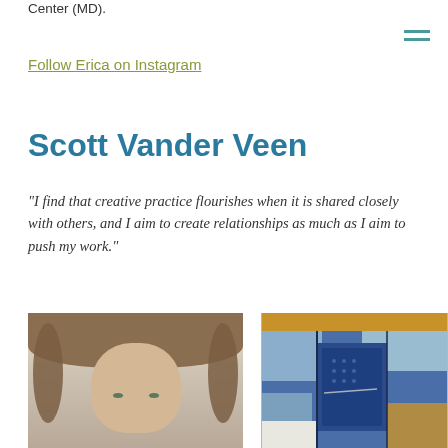Center (MD).
Follow Erica on Instagram
Scott Vander Veen
“I find that creative practice flourishes when it is shared closely with others, and I aim to create relationships as much as I aim to push my work.”
[Figure (photo): Portrait photograph of Scott Vander Veen, a young man with long light-brown hair, facing camera against a neutral background]
[Figure (photo): Textile artwork featuring patchwork of blue, light blue, and gold/orange fabric pieces arranged in an abstract composition]